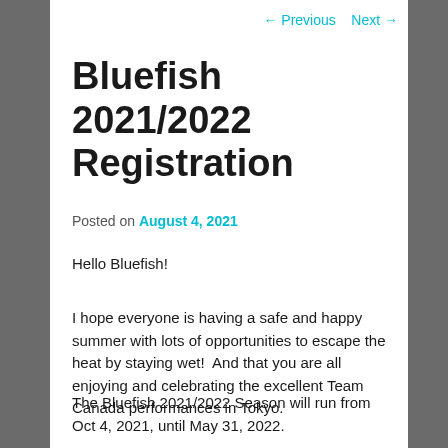← Previous   Next →
Bluefish 2021/2022 Registration
Posted on August 4, 2021
Hello Bluefish!
I hope everyone is having a safe and happy summer with lots of opportunities to escape the heat by staying wet!  And that you are all enjoying and celebrating the excellent Team Canada performances in Tokyo.
The Bluefish 2021/2022 Season will run from Oct 4, 2021, until May 31, 2022.